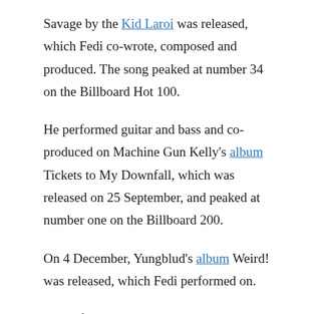Savage by the Kid Laroi was released, which Fedi co-wrote, composed and produced. The song peaked at number 34 on the Billboard Hot 100.
He performed guitar and bass and co-produced on Machine Gun Kelly's album Tickets to My Downfall, which was released on 25 September, and peaked at number one on the Billboard 200.
On 4 December, Yungblud's album Weird! was released, which Fedi performed on.
He performed on and produced Lil Nas X's song "Montero (Call Me by Your Name)", which was released on 26 March 2021.